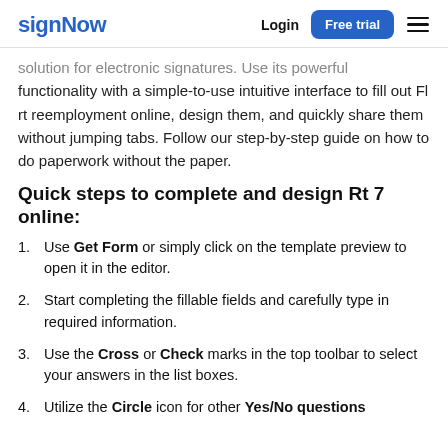signNow | Login | Free trial
solution for electronic signatures. Use its powerful functionality with a simple-to-use intuitive interface to fill out Fl rt reemployment online, design them, and quickly share them without jumping tabs. Follow our step-by-step guide on how to do paperwork without the paper.
Quick steps to complete and design Rt 7 online:
Use Get Form or simply click on the template preview to open it in the editor.
Start completing the fillable fields and carefully type in required information.
Use the Cross or Check marks in the top toolbar to select your answers in the list boxes.
Utilize the Circle icon for other Yes/No questions